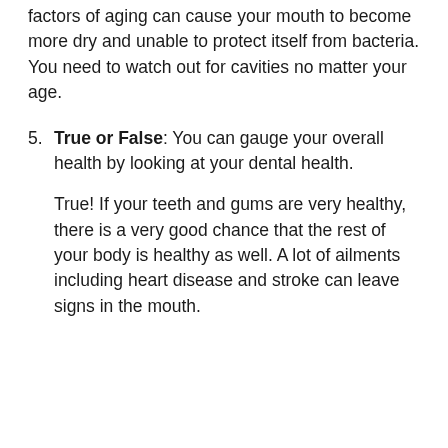factors of aging can cause your mouth to become more dry and unable to protect itself from bacteria. You need to watch out for cavities no matter your age.
5. True or False: You can gauge your overall health by looking at your dental health.
True! If your teeth and gums are very healthy, there is a very good chance that the rest of your body is healthy as well. A lot of ailments including heart disease and stroke can leave signs in the mouth.